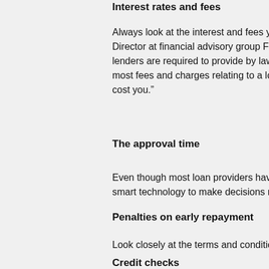Interest rates and fees
Always look at the interest and fees you will p... Director at financial advisory group Financial M... lenders are required to provide by law which h... most fees and charges relating to a loan. The... cost you.”
The approval time
Even though most loan providers have an onli... smart technology to make decisions means yo...
Penalties on early repayment
Look closely at the terms and conditions and t...
Credit checks
Ensure you give your consent before any cred...